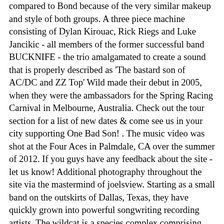compared to Bond because of the very similar makeup and style of both groups. A three piece machine consisting of Dylan Kirouac, Rick Riegs and Luke Jancikic - all members of the former successful band BUCKNIFE - the trio amalgamated to create a sound that is properly described as 'The bastard son of AC/DC and ZZ Top' Wild made their debut in 2005, when they were the ambassadors for the Spring Racing Carnival in Melbourne, Australia. Check out the tour section for a list of new dates & come see us in your city supporting One Bad Son! . The music video was shot at the Four Aces in Palmdale, CA over the summer of 2012. If you guys have any feedback about the site - let us know! Additional photography throughout the site via the mastermind of joelsview. Starting as a small band on the outskirts of Dallas, Texas, they have quickly grown into powerful songwriting recording artists. The wildcat is a species complex comprising two small wild cat species, the European wildcat (Felis silvestris) and the African wildcat (F. lybica).The European wildcat inhabits forests in Europe and the Caucasus, while the African wildcat inhabits semi-arid landscapes and steppes in Africa, the Arabian Peninsula, Central Asia, into western India and western China. The official artwork for our upcoming album "GxDxWxB" out on eOne Music EVERYWHERE in Canada April 21st! were set to hit the road for a tour across Europe this week. The Wild! For those of you iTunes users & supporters worldwide -- our latest singles for "Road House" and "Party 'Til You're Dead" are up for .99 cents on